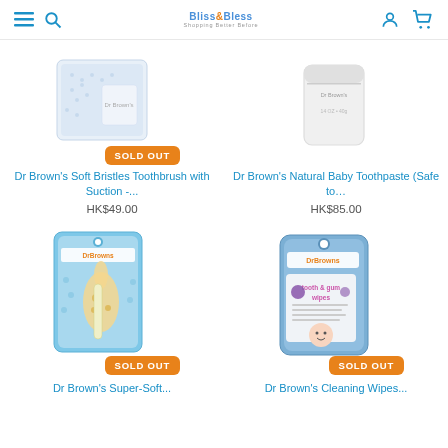Bliss & Bless - Shopping Better Before
[Figure (screenshot): Dr Brown's Soft Bristles Toothbrush product image with SOLD OUT badge]
Dr Brown's Soft Bristles Toothbrush with Suction -...
HK$49.00
[Figure (screenshot): Dr Brown's Natural Baby Toothpaste product image]
Dr Brown's Natural Baby Toothpaste (Safe to…
HK$85.00
[Figure (screenshot): Dr Brown's Super-Soft toothbrush product image with SOLD OUT badge]
Dr Brown's Super-Soft...
[Figure (screenshot): Dr Brown's Cleaning Wipes tooth & gum wipes product image with SOLD OUT badge]
Dr Brown's Cleaning Wipes...